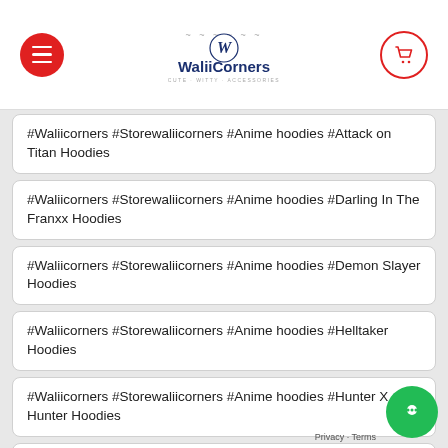WaliiCorners
#Waliicorners #Storewaliicorners #Anime hoodies #Attack on Titan Hoodies
#Waliicorners #Storewaliicorners #Anime hoodies #Darling In The Franxx Hoodies
#Waliicorners #Storewaliicorners #Anime hoodies #Demon Slayer Hoodies
#Waliicorners #Storewaliicorners #Anime hoodies #Helltaker Hoodies
#Waliicorners #Storewaliicorners #Anime hoodies #Hunter X Hunter Hoodies
#Waliicorners #Storewaliicorners #Anime hoodies #jujutsu kaisen Hoodies
#Waliicorners #Storewaliicorners #Anime hoodies #My Hero Academia Hoodies
#Waliicorners #Storewaliicorners #Anime hoodies #Naruto Hoodies